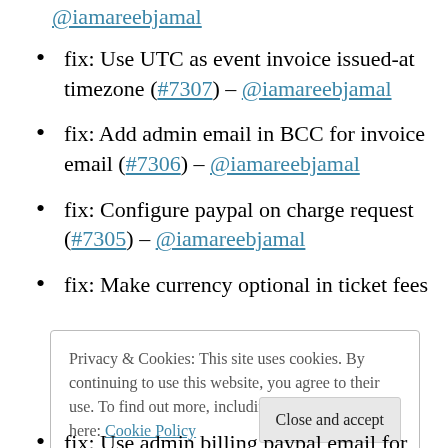@iamareebjamal (link at top)
fix: Use UTC as event invoice issued-at timezone (#7307) – @iamareebjamal
fix: Add admin email in BCC for invoice email (#7306) – @iamareebjamal
fix: Configure paypal on charge request (#7305) – @iamareebjamal
fix: Make currency optional in ticket fees
Privacy & Cookies: This site uses cookies. By continuing to use this website, you agree to their use. To find out more, including how to c… see here: Cookie Policy
fix: Use admin billing paypal email for…